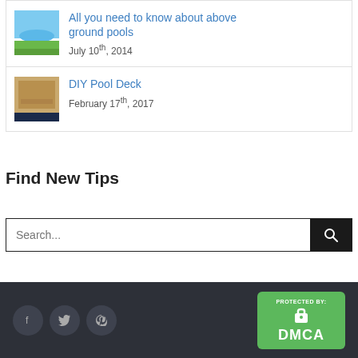[Figure (photo): Thumbnail of above ground pool with blue water]
All you need to know about above ground pools
July 10th, 2014
[Figure (photo): Thumbnail of wooden pool deck with chairs]
DIY Pool Deck
February 17th, 2017
Find New Tips
Search...
Social icons: Facebook, Twitter, Pinterest. DMCA Protection badge.